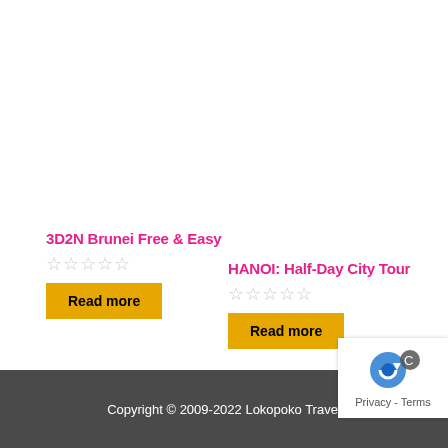3D2N Brunei Free & Easy
☆☆☆☆☆
Read more
HANOI: Half-Day City Tour
☆☆☆☆☆
Read more
Copyright © 2009-2022 Lokopoko Travel